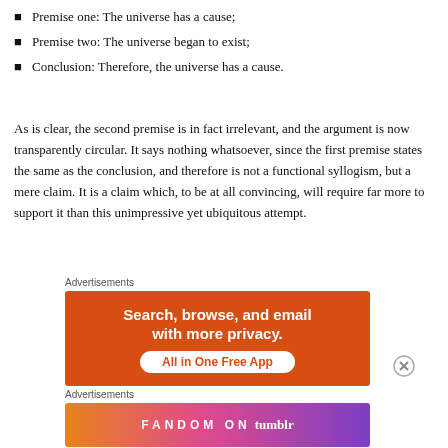Premise one: The universe has a cause;
Premise two: The universe began to exist;
Conclusion: Therefore, the universe has a cause.
As is clear, the second premise is in fact irrelevant, and the argument is now transparently circular. It says nothing whatsoever, since the first premise states the same as the conclusion, and therefore is not a functional syllogism, but a mere claim. It is a claim which, to be at all convincing, will require far more to support it than this unimpressive yet ubiquitous attempt.
Advertisements
[Figure (other): Orange advertisement banner: 'Search, browse, and email with more privacy. All in One Free App']
Advertisements
[Figure (other): Colorful Fandom on Tumblr advertisement banner with gradient orange to purple background]